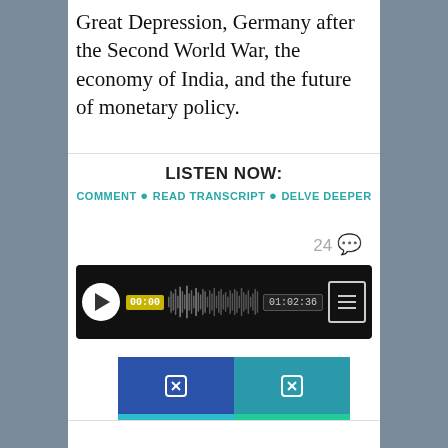Great Depression, Germany after the Second World War, the economy of India, and the future of monetary policy.
LISTEN NOW:
COMMENT • READ TRANSCRIPT • DELVE DEEPER
24 💬
[Figure (screenshot): Audio player widget with black background, play button, waveform visualization, timestamps 00:00 and 01:02:36, and a menu button]
[Figure (infographic): Two rows of buttons: top row has blue share button and teal icon button; bottom row has cyan email button and green DOWNLOAD button]